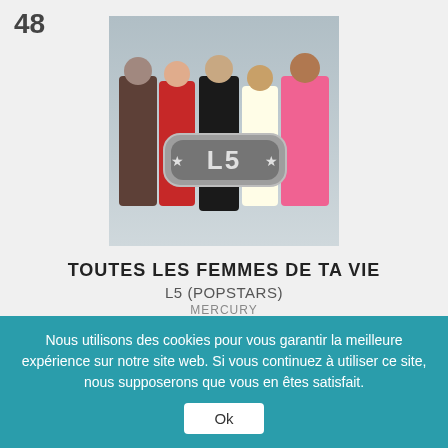48
[Figure (photo): Album cover for L5 (Popstars) - five women posing with the L5 logo in chrome lettering]
TOUTES LES FEMMES DE TA VIE
L5 (POPSTARS)
MERCURY
[Figure (logo): Streaming/purchase platform icons: Deezer, Amazon, Fnac, Apple]
Nous utilisons des cookies pour vous garantir la meilleure expérience sur notre site web. Si vous continuez à utiliser ce site, nous supposerons que vous en êtes satisfait.